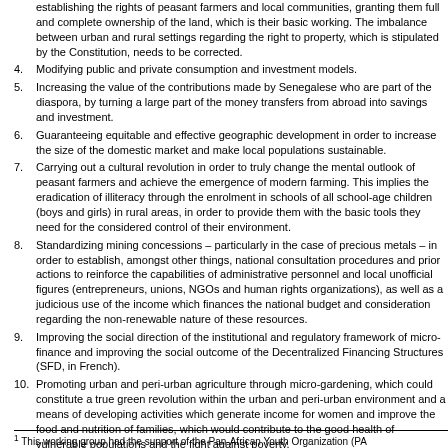establishing the rights of peasant farmers and local communities, granting them full and complete ownership of the land, which is their basic working. The imbalance between urban and rural settings regarding the right to property, which is stipulated by the Constitution, needs to be corrected.
4. Modifying public and private consumption and investment models.
5. Increasing the value of the contributions made by Senegalese who are part of the diaspora, by turning a large part of the money transfers from abroad into savings and investment.
6. Guaranteeing equitable and effective geographic development in order to increase the size of the domestic market and make local populations sustainable.
7. Carrying out a cultural revolution in order to truly change the mental outlook of peasant farmers and achieve the emergence of modern farming. This implies the eradication of illiteracy through the enrolment in schools of all school-age children (boys and girls) in rural areas, in order to provide them with the basic tools they need for the considered control of their environment.
8. Standardizing mining concessions – particularly in the case of precious metals – in order to establish, amongst other things, national consultation procedures and prior actions to reinforce the capabilities of administrative personnel and local unofficial figures (entrepreneurs, unions, NGOs and human rights organizations), as well as a judicious use of the income which finances the national budget and consideration regarding the non-renewable nature of these resources.
9. Improving the social direction of the institutional and regulatory framework of micro-finance and improving the social outcome of the Decentralized Financing Structures (SFD, in French).
10. Promoting urban and peri-urban agriculture through micro-gardening, which could constitute a true green revolution within the urban and peri-urban environment and a means of developing activities which generate income for women and improve the food and nutrition of families, which would contribute to the good health of vulnerable populations and the fight against poverty.
1 This working group had the support of the Pan-African Youth Organization (PA